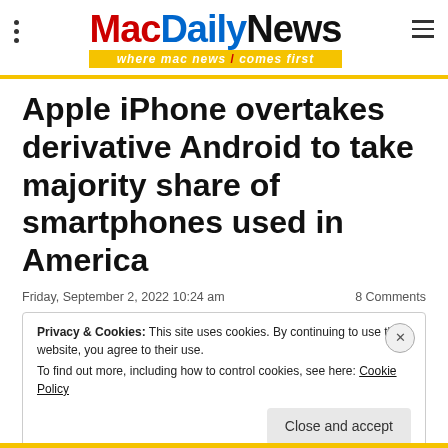MacDailyNews — where mac news / comes first
Apple iPhone overtakes derivative Android to take majority share of smartphones used in America
Friday, September 2, 2022 10:24 am   8 Comments
Privacy & Cookies: This site uses cookies. By continuing to use this website, you agree to their use. To find out more, including how to control cookies, see here: Cookie Policy
Close and accept